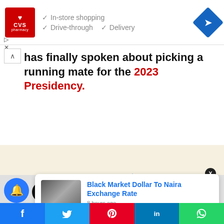[Figure (screenshot): CVS Pharmacy advertisement banner with checkmarks for In-store shopping, Drive-through, and Delivery options, plus a navigation diamond icon]
... has finally spoken about picking a running mate for the 2023 Presidency.
[Figure (screenshot): Black Market Dollar To Naira Exchange Rate news widget popup with thumbnail image, title, and '8 hours ago' timestamp]
Shares | Facebook | Twitter | Pinterest | LinkedIn | WhatsApp share bar